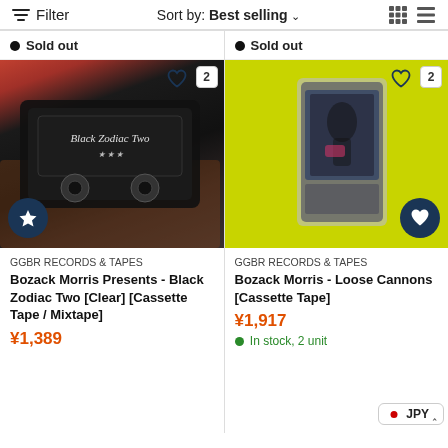Filter   Sort by: Best selling
Sold out
Sold out
[Figure (photo): Photo of a black cassette tape being held, with white cursive text on it. A star icon circle button at bottom left and heart icon at top right with number 2 badge.]
GGBR RECORDS & TAPES
Bozack Morris Presents - Black Zodiac Two [Clear] [Cassette Tape / Mixtape]
¥1,389
[Figure (photo): Photo of a cassette tape on a bright lime-green background. Heart icon circle button at bottom right and heart icon at top right with number 2 badge.]
GGBR RECORDS & TAPES
Bozack Morris - Loose Cannons [Cassette Tape]
¥1,917
In stock, 2 unit